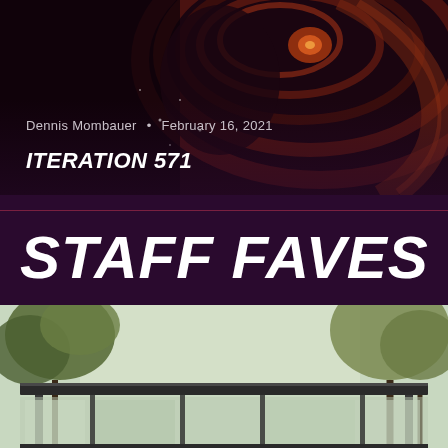[Figure (photo): Abstract swirling dark background image with red-brown tones, appearing to show a stylized face or figure with cosmic swirl patterns]
Dennis Mombauer • February 16, 2021
ITERATION 571
STAFF FAVES
[Figure (photo): Outdoor photo showing trees with autumn foliage against a light sky, with what appears to be a bus stop shelter or building roof in the foreground]